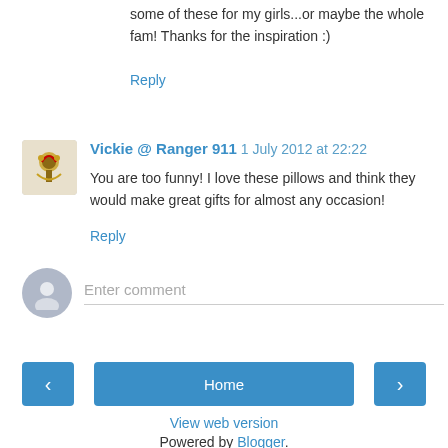some of these for my girls...or maybe the whole fam! Thanks for the inspiration :)
Reply
Vickie @ Ranger 911  1 July 2012 at 22:22
You are too funny! I love these pillows and think they would make great gifts for almost any occasion!
Reply
Enter comment
Home
View web version
Powered by Blogger.